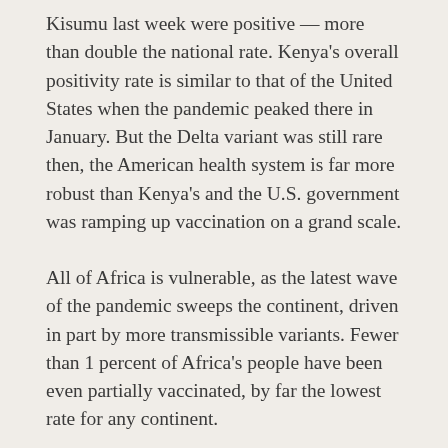Kisumu last week were positive — more than double the national rate. Kenya's overall positivity rate is similar to that of the United States when the pandemic peaked there in January. But the Delta variant was still rare then, the American health system is far more robust than Kenya's and the U.S. government was ramping up vaccination on a grand scale.
All of Africa is vulnerable, as the latest wave of the pandemic sweeps the continent, driven in part by more transmissible variants. Fewer than 1 percent of Africa's people have been even partially vaccinated, by far the lowest rate for any continent.
"I think the greatest risk in Africa is to look at what happened in Italy earlier on and what happened in India and start thinking we are safe — to say it's very far